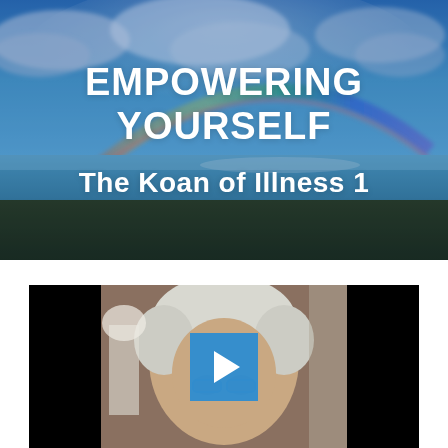[Figure (photo): Hero banner image showing a coastal seascape with a rainbow in a dramatic blue sky with clouds, ocean water and rocky shoreline in the foreground, with bold white text overlay reading 'EMPOWERING YOURSELF' and 'The Koan of Illness 1']
EMPOWERING YOURSELF
The Koan of Illness 1
[Figure (screenshot): Video player thumbnail showing a close-up of a woman with short white/silver hair and glasses, with a blue play button overlay in the center. The video player has black bars on the sides.]